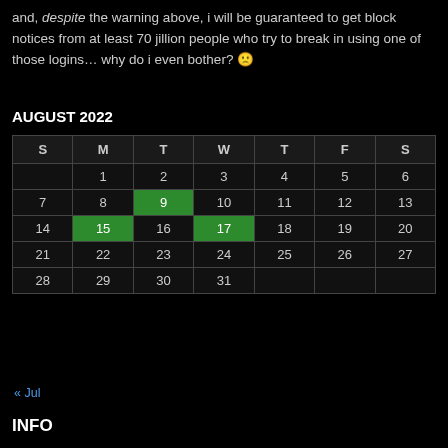and, despite the warning above, i will be guaranteed to get block notices from at least 70 jillion people who try to break in using one of those logins… why do i even bother? 🙁
AUGUST 2022
| S | M | T | W | T | F | S |
| --- | --- | --- | --- | --- | --- | --- |
|  | 1 | 2 | 3 | 4 | 5 | 6 |
| 7 | 8 | 9 | 10 | 11 | 12 | 13 |
| 14 | 15 | 16 | 17 | 18 | 19 | 20 |
| 21 | 22 | 23 | 24 | 25 | 26 | 27 |
| 28 | 29 | 30 | 31 |  |  |  |
« Jul
INFO